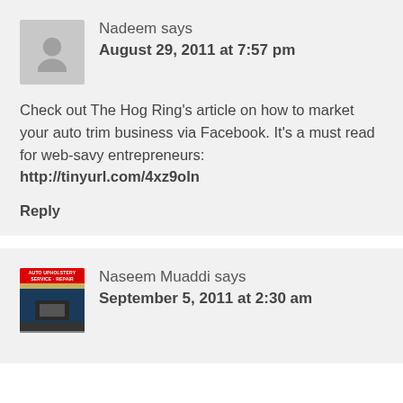Nadeem says
August 29, 2011 at 7:57 pm
Check out The Hog Ring’s article on how to market your auto trim business via Facebook. It’s a must read for web-savy entrepreneurs: http://tinyurl.com/4xz9oln
Reply
Naseem Muaddi says
September 5, 2011 at 2:30 am